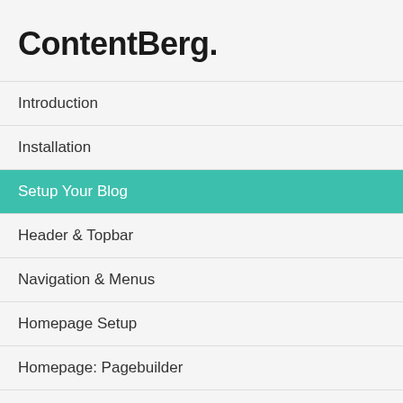ContentBerg.
Introduction
Installation
Setup Your Blog
Header & Topbar
Navigation & Menus
Homepage Setup
Homepage: Pagebuilder
Setup Categories
Adding Posts
Need more help or guidance? Check Frequently Asked Questions or register and use our Support Forums. you have a paid TypeKit